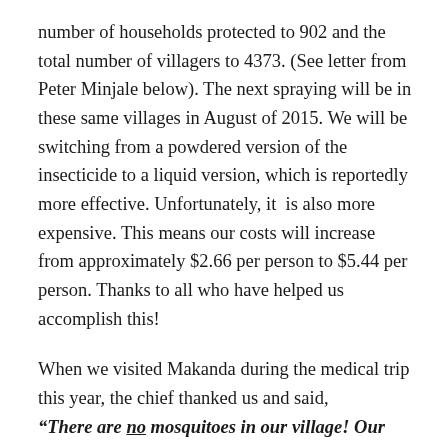number of households protected to 902 and the total number of villagers to 4373.  (See letter from Peter Minjale below). The next spraying will be in these same villages in August of 2015.  We will be switching from a powdered version of the insecticide to a liquid version, which is reportedly more effective.  Unfortunately, it  is also more expensive.  This means our costs will increase from approximately $2.66 per person to $5.44 per person. Thanks to all who have helped us accomplish this!
When we visited Makanda during the medical trip this year, the chief thanked us and said, “There are no mosquitoes in our village! Our pregnant women and little children [those most